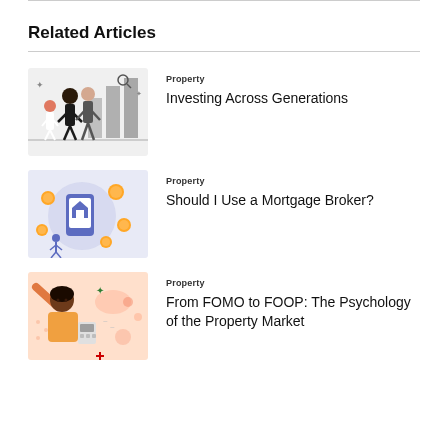Related Articles
[Figure (illustration): Illustration of a family with adults and a child in front of a bar chart]
Property
Investing Across Generations
[Figure (illustration): Illustration of a person with a mobile device surrounded by coins and financial icons on a light blue background]
Property
Should I Use a Mortgage Broker?
[Figure (illustration): Illustration of a woman with a calculator and property-related icons on a peach/orange background]
Property
From FOMO to FOOP: The Psychology of the Property Market